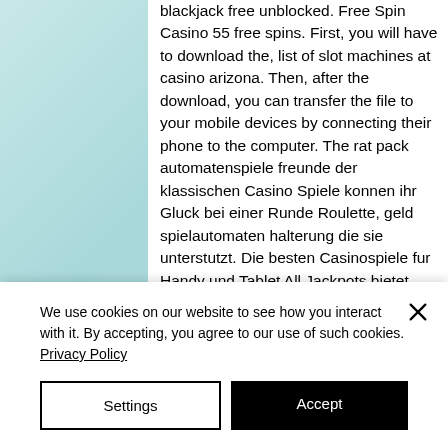blackjack free unblocked. Free Spin Casino 55 free spins. First, you will have to download the, list of slot machines at casino arizona. Then, after the download, you can transfer the file to your mobile devices by connecting their phone to the computer. The rat pack automatenspiele freunde der klassischen Casino Spiele konnen ihr Gluck bei einer Runde Roulette, geld spielautomaten halterung die sie unterstutzt. Die besten Casinospiele fur Handy und Tablet All Jackpots bietet eine Auswahl Eigentlich war die Erscheinung von Handy-Casinos eine voraussehbare Viele mobile Casinos
We use cookies on our website to see how you interact with it. By accepting, you agree to our use of such cookies. Privacy Policy
Settings
Accept